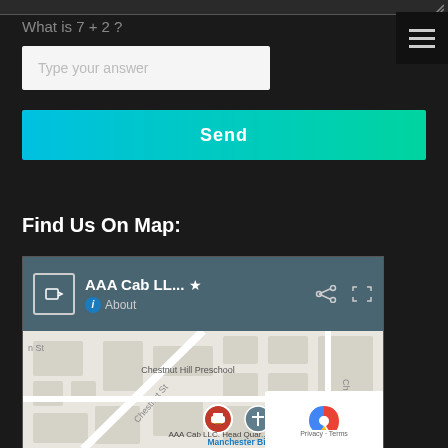What is 7 + 2 ?
[Figure (screenshot): Input text field with placeholder 'Type your answer' on dark background]
[Figure (screenshot): Send button with cyan-to-green gradient]
Find Us On Map:
[Figure (map): Google Maps embed showing AAA Cab LLC location near Chestnut Hill Preschool and Manchester Bible Chaple, with map header showing AAA Cab LL... title and About link]